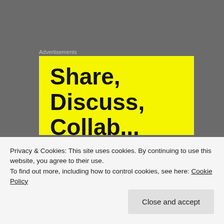Advertisements
[Figure (illustration): Yellow advertisement banner with bold black text reading 'Share, Discuss, Collaborate' (partially visible, cut off at bottom)]
I don't know if I am unconsciously seeking out these type of things/thoughts or that I am just noticing them more and more. A couple of weeks ago, I wrote about a
Privacy & Cookies: This site uses cookies. By continuing to use this website, you agree to their use.
To find out more, including how to control cookies, see here: Cookie Policy
Close and accept